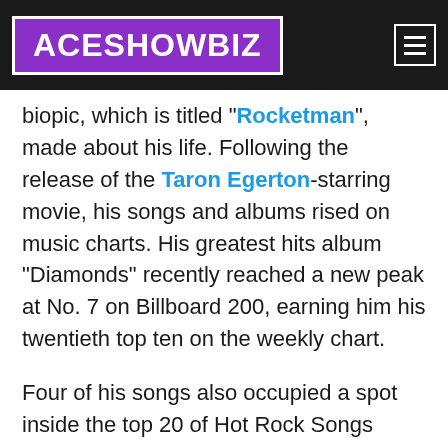ACESHOWBIZ
biopic, which is titled "Rocketman", made about his life. Following the release of the Taron Egerton-starring movie, his songs and albums rised on music charts. His greatest hits album "Diamonds" recently reached a new peak at No. 7 on Billboard 200, earning him his twentieth top ten on the weekly chart.
Four of his songs also occupied a spot inside the top 20 of Hot Rock Songs chart, with "Rocket Man" re-entering the tally at No. 4. "Tiny Dancer" followed closely at No. 6, while "Bennie and the Jets" took the No. 9 spot. Another beloved smash, "Goodbye Yellow Brick Road", came in at No. 17 on the rock music chart.
Elton is currently hitting the road for his "Farewell